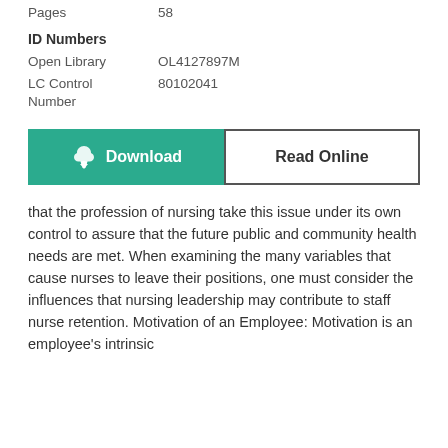Pages	58
ID Numbers
Open Library	OL4127897M
LC Control Number	80102041
[Figure (other): Download button (green) and Read Online button (white with border)]
that the profession of nursing take this issue under its own control to assure that the future public and community health needs are met. When examining the many variables that cause nurses to leave their positions, one must consider the influences that nursing leadership may contribute to staff nurse retention. Motivation of an Employee: Motivation is an employee's intrinsic